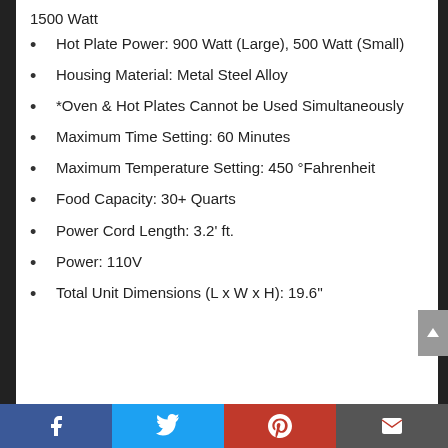1500 Watt
Hot Plate Power: 900 Watt (Large), 500 Watt (Small)
Housing Material: Metal Steel Alloy
*Oven & Hot Plates Cannot be Used Simultaneously
Maximum Time Setting: 60 Minutes
Maximum Temperature Setting: 450 °Fahrenheit
Food Capacity: 30+ Quarts
Power Cord Length: 3.2' ft.
Power: 110V
Total Unit Dimensions (L x W x H): 19.6''